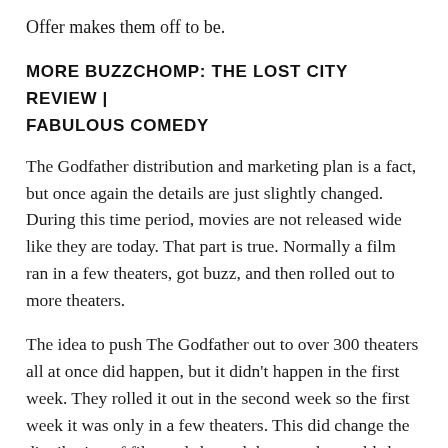Offer makes them off to be.
MORE BUZZCHOMP: THE LOST CITY REVIEW | FABULOUS COMEDY
The Godfather distribution and marketing plan is a fact, but once again the details are just slightly changed. During this time period, movies are not released wide like they are today. That part is true. Normally a film ran in a few theaters, got buzz, and then rolled out to more theaters.
The idea to push The Godfather out to over 300 theaters all at once did happen, but it didn't happen in the first week. They rolled it out in the second week so the first week it was only in a few theaters. This did change the distribution of film and showed that people would show up in the theaters anytime of year and all at once.
The Offer Episode 10 breaks down fact vs fiction! I really enjoyed The Offer! Share with us yours and check out our